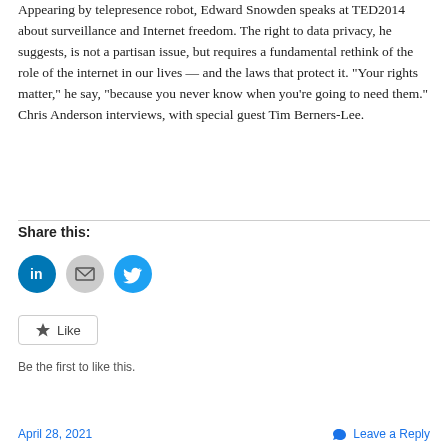Appearing by telepresence robot, Edward Snowden speaks at TED2014 about surveillance and Internet freedom. The right to data privacy, he suggests, is not a partisan issue, but requires a fundamental rethink of the role of the internet in our lives — and the laws that protect it. “Your rights matter,” he say, “because you never know when you’re going to need them.” Chris Anderson interviews, with special guest Tim Berners-Lee.
Share this:
[Figure (infographic): Three social sharing icons: LinkedIn (blue circle with 'in'), Email (gray circle with envelope), Twitter (blue circle with bird)]
[Figure (infographic): Like button with star icon]
Be the first to like this.
April 28, 2021    Leave a Reply